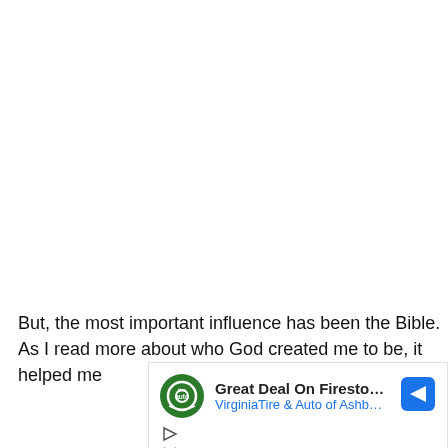But, the most important influence has been the Bible. As I read more about who God created me to be, it helped me
[Figure (other): Advertisement banner for Virginia Tire & Auto of Ashburn Fa. showing Firestone Tires deal, with logo, navigation arrow icon, play and close control buttons.]